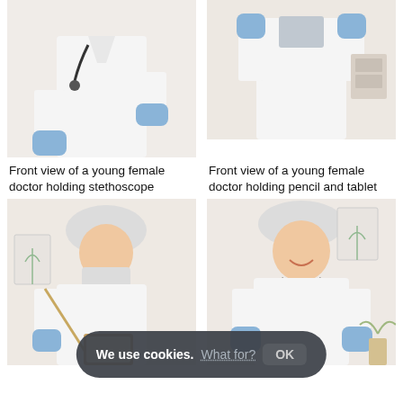[Figure (photo): Front view of a young female doctor in white coat with stethoscope and blue gloves, holding stethoscope]
[Figure (photo): Front view of a young female doctor in white coat holding pencil and tablet with blue gloves]
Front view of a young female doctor holding stethoscope
Front view of a young female doctor holding pencil and tablet
[Figure (photo): Female medical worker wearing hair cap and blue gloves, holding a pointer and clipboard, looking sideways]
[Figure (photo): Smiling female medical worker wearing hair cap and stethoscope with blue gloves, giving thumbs up]
We use cookies. What for? OK